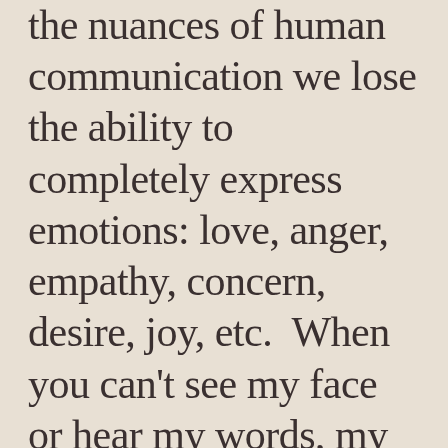the nuances of human communication we lose the ability to completely express emotions: love, anger, empathy, concern, desire, joy, etc. When you can't see my face or hear my words, my intentions can be easily misunderstand.